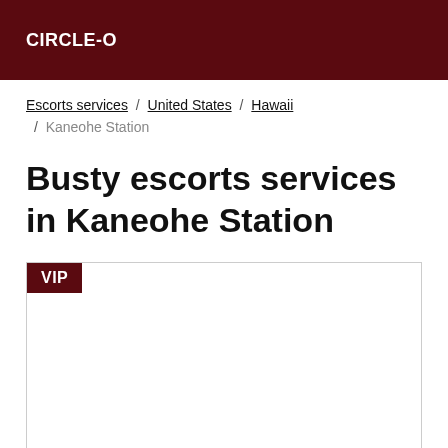CIRCLE-O
Escorts services / United States / Hawaii / Kaneohe Station
Busty escorts services in Kaneohe Station
[Figure (other): VIP listing card with border, white background, and VIP badge in dark red at top-left]